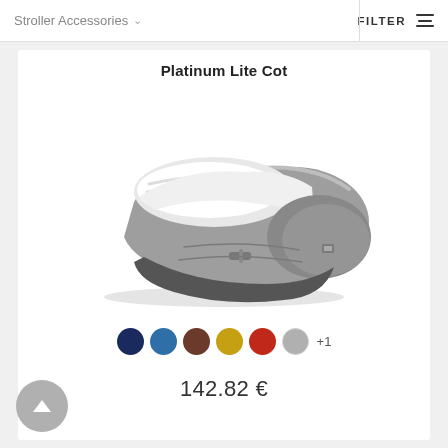Stroller Accessories   FILTER
Platinum Lite Cot
[Figure (photo): A grey baby stroller cot/carrycot with white padded interior, shown at an angle. The cot is compact and portable, with quilted grey exterior fabric.]
Color swatches: dark navy, blue, brown, yellow/mustard, red, grey, +1
142.82 €